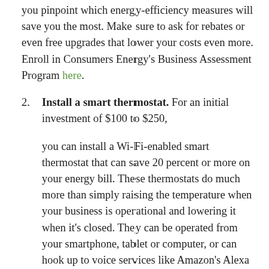you pinpoint which energy-efficiency measures will save you the most. Make sure to ask for rebates or even free upgrades that lower your costs even more. Enroll in Consumers Energy's Business Assessment Program here.
Install a smart thermostat. For an initial investment of $100 to $250,
you can install a Wi-Fi-enabled smart thermostat that can save 20 percent or more on your energy bill. These thermostats do much more than simply raising the temperature when your business is operational and lowering it when it's closed. They can be operated from your smartphone, tablet or computer, or can hook up to voice services like Amazon's Alexa or Google Home Mini. Some smart thermostats have room sensors that can detect hot